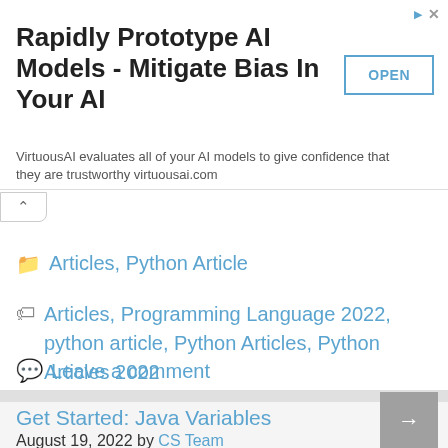[Figure (other): Advertisement banner: 'Rapidly Prototype AI Models - Mitigate Bias In Your AI' with OPEN button. VirtuousAI evaluates all of your AI models to give confidence that they are trustworthy virtuousai.com]
Articles, Python Article
Articles, Programming Language 2022, python article, Python Articles, Python Articles 2022
Leave a comment
Get Started: Java Variables
August 19, 2022 by CS Team